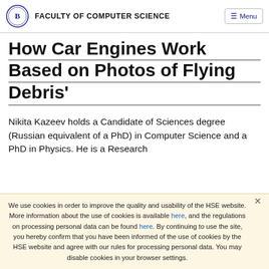FACULTY OF COMPUTER SCIENCE
How Car Engines Work Based on Photos of Flying Debris'
Nikita Kazeev holds a Candidate of Sciences degree (Russian equivalent of a PhD) in Computer Science and a PhD in Physics. He is a Research
We use cookies in order to improve the quality and usability of the HSE website. More information about the use of cookies is available here, and the regulations on processing personal data can be found here. By continuing to use the site, you hereby confirm that you have been informed of the use of cookies by the HSE website and agree with our rules for processing personal data. You may disable cookies in your browser settings.